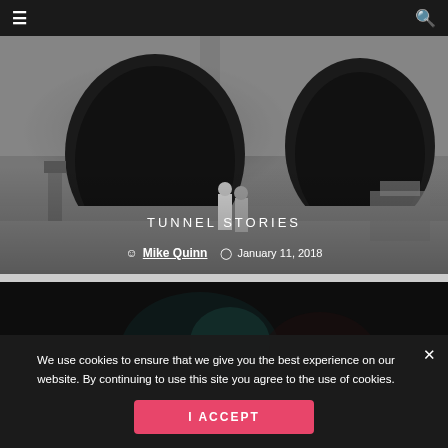☰  🔍
[Figure (photo): Black and white photograph of two people walking toward large tunnel openings in a rock face, with construction equipment visible]
TUNNEL STORIES
Mike Quinn  January 11, 2018
[Figure (photo): Dark, blurry color photograph — partial second article card]
We use cookies to ensure that we give you the best experience on our website. By continuing to use this site you agree to the use of cookies.
I ACCEPT